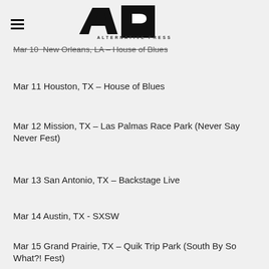Alternative Press
Mar 10  New Orleans, LA – House of Blues
Mar 11 Houston, TX – House of Blues
Mar 12 Mission, TX – Las Palmas Race Park (Never Say Never Fest)
Mar 13 San Antonio, TX – Backstage Live
Mar 14 Austin, TX - SXSW
Mar 15 Grand Prairie, TX – Quik Trip Park (South By So What?! Fest)